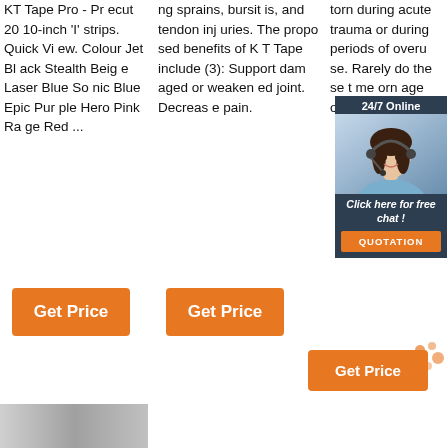KT Tape Pro - Precut 20 10-inch 'I' strips. Quick View. Colour Jet Black Stealth Beige Laser Blue Sonic Blue Epic Purple Hero Pink Rage Red ...
ng sprains, bursitis, and tendon injuries. The proposed benefits of KT Tape include (3): Support damaged or weakened joint. Decrease pain.
torn during acute trauma or during periods of overuse. Rarely do these me orn age ons s, s ess as w
[Figure (other): 24/7 Online chat popup with female customer service agent photo and 'Click here for free chat!' text with QUOTATION button]
Get Price (button 1)
Get Price (button 2)
Get Price (button 3)
[Figure (photo): Partial gray/silver product image at bottom left]